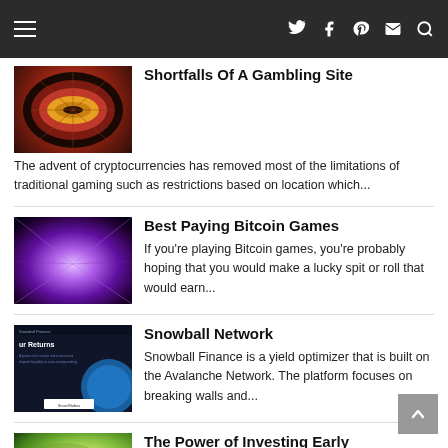Navigation bar with hamburger menu and social icons
Shortfalls Of A Gambling Site
The advent of cryptocurrencies has removed most of the limitations of traditional gaming such as restrictions based on location which...
Best Paying Bitcoin Games
If you're playing Bitcoin games, you're probably hoping that you would make a lucky spit or roll that would earn...
Snowball Network
Snowball Finance is a yield optimizer that is built on the Avalanche Network. The platform focuses on breaking walls and...
The Power of Investing Early